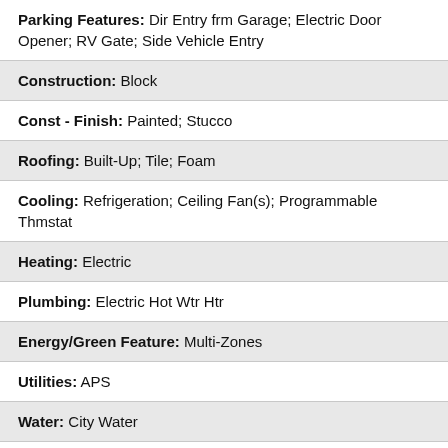Parking Features: Dir Entry frm Garage; Electric Door Opener; RV Gate; Side Vehicle Entry
Construction: Block
Const - Finish: Painted; Stucco
Roofing: Built-Up; Tile; Foam
Cooling: Refrigeration; Ceiling Fan(s); Programmable Thmstat
Heating: Electric
Plumbing: Electric Hot Wtr Htr
Energy/Green Feature: Multi-Zones
Utilities: APS
Water: City Water
Sewer: Sewer - Public
Services: City Services